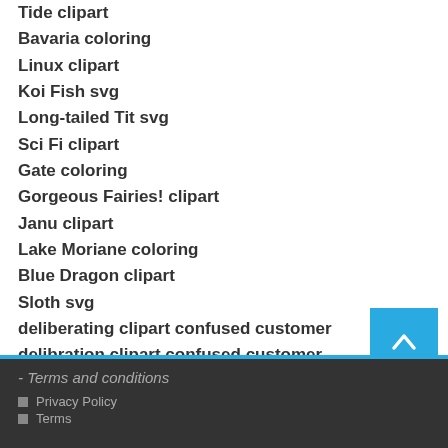Tide clipart
Bavaria coloring
Linux clipart
Koi Fish svg
Long-tailed Tit svg
Sci Fi clipart
Gate coloring
Gorgeous Fairies! clipart
Janu clipart
Lake Moriane coloring
Blue Dragon clipart
Sloth svg
deliberating clipart confused customer
delibration clipart confused customer
delivery clipart customer
demanded clipart customer demand
- Terms and conditions
Privacy Policy
Terms